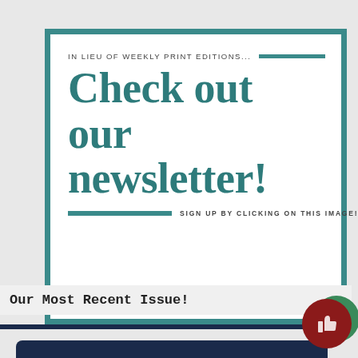[Figure (infographic): Newsletter advertisement with teal border box on white background. Contains text 'IN LIEU OF WEEKLY PRINT EDITIONS...' with teal decorative bar, large bold title 'Check out our newsletter!', and 'SIGN UP BY CLICKING ON THIS IMAGE!' text with teal bar.]
Check out our newsletter!
IN LIEU OF WEEKLY PRINT EDITIONS...
SIGN UP BY CLICKING ON THIS IMAGE!
Our Most Recent Issue!